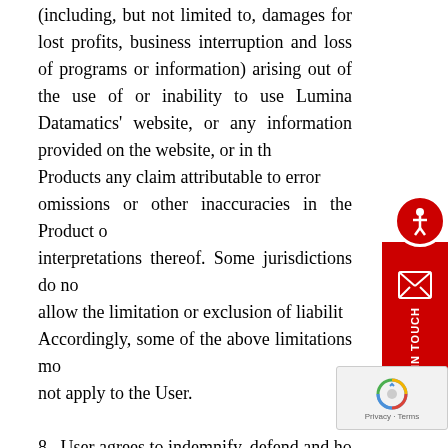(including, but not limited to, damages for lost profits, business interruption and loss of programs or information) arising out of the use of or inability to use Lumina Datamatics' website, or any information provided on the website, or in the Products any claim attributable to errors, omissions or other inaccuracies in the Product or interpretations thereof. Some jurisdictions do not allow the limitation or exclusion of liability. Accordingly, some of the above limitations may not apply to the User.
8. User agrees to indemnify, defend and hold Lumina Datamatics harmless from and against all losses, expenses, damages and costs, including reasonable attorneys' fees, arising out of or relating to any misuse by the User of the content and services provided on the Site.
9. The information contained in the Site has been